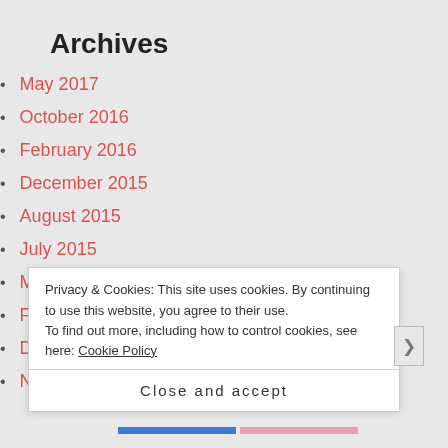Archives
May 2017
October 2016
February 2016
December 2015
August 2015
July 2015
March 2015
February 2015
December 2014
November 2014
Privacy & Cookies: This site uses cookies. By continuing to use this website, you agree to their use.
To find out more, including how to control cookies, see here: Cookie Policy
Close and accept